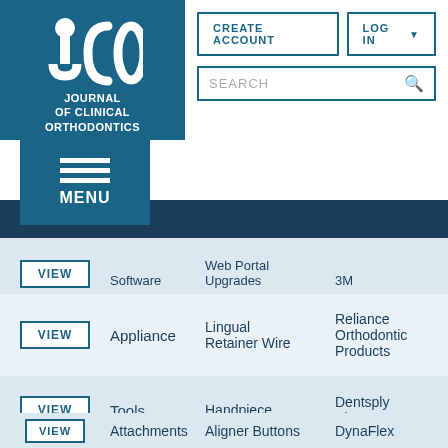[Figure (logo): JCO Journal of Clinical Orthodontics logo - white jco letters on teal/dark blue background]
CREATE ACCOUNT   LOG IN   SEARCH
MENU
|  | Type | Product | Company |
| --- | --- | --- | --- |
| VIEW | Software | Web Portal Upgrades | 3M |
| VIEW | Appliance | Lingual Retainer Wire | Reliance Orthodontic Products |
| VIEW | Tools | Handpiece | Dentsply Sirona |
| VIEW | Software | Monitoring App | In Hand Health |
| VIEW | Attachments | Aligner Buttons | DynaFlex |